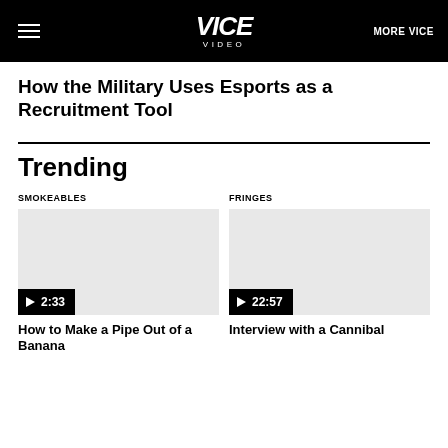VICE VIDEO | MORE VICE
How the Military Uses Esports as a Recruitment Tool
Trending
SMOKEABLES
[Figure (screenshot): Video thumbnail placeholder with play button and duration 2:33]
How to Make a Pipe Out of a Banana
FRINGES
[Figure (screenshot): Video thumbnail placeholder with play button and duration 22:57]
Interview with a Cannibal